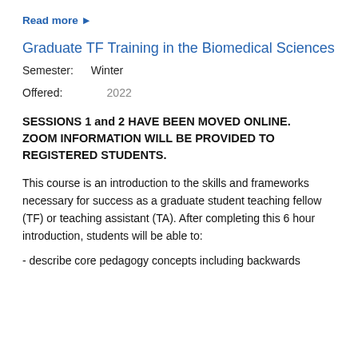Read more ▶
Graduate TF Training in the Biomedical Sciences
Semester:  Winter
Offered:    2022
SESSIONS 1 and 2 HAVE BEEN MOVED ONLINE. ZOOM INFORMATION WILL BE PROVIDED TO REGISTERED STUDENTS.
This course is an introduction to the skills and frameworks necessary for success as a graduate student teaching fellow (TF) or teaching assistant (TA). After completing this 6 hour introduction, students will be able to:
- describe core pedagogy concepts including backwards